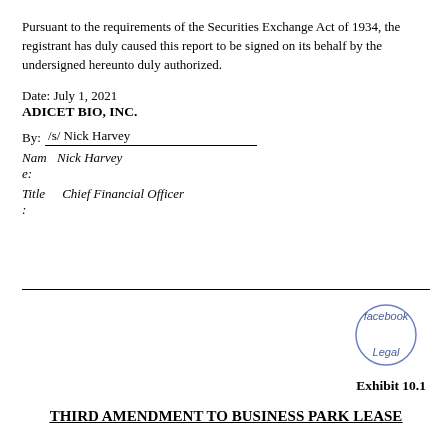Pursuant to the requirements of the Securities Exchange Act of 1934, the registrant has duly caused this report to be signed on its behalf by the undersigned hereunto duly authorized.
Date: July 1, 2021

ADICET BIO, INC.

By: /s/ Nick Harvey
Name: Nick Harvey
Title: Chief Financial Officer
[Figure (illustration): Circular stamp reading 'facebook Legal']
Exhibit 10.1
THIRD AMENDMENT TO BUSINESS PARK LEASE